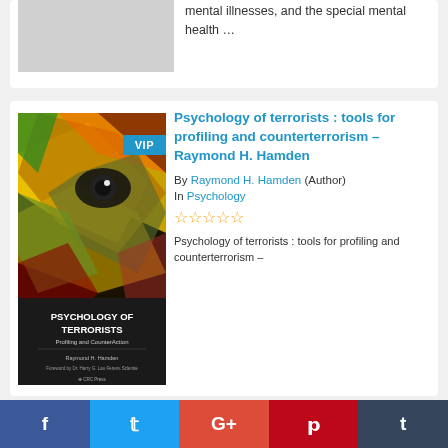mental illnesses, and the special mental health …
[Figure (photo): Book cover: Psychology of Terrorists by Raymond H. Hamden (CRC Press) with abstract colorful face imagery and VIP badge]
Psychology of terrorists : tools for profiling and counterterrorism – Raymond H. Hamden
By Raymond H. Hamden (Author)
In Psychology
Psychology of terrorists : tools for profiling and counterterrorism –
f  t  G+  p  t